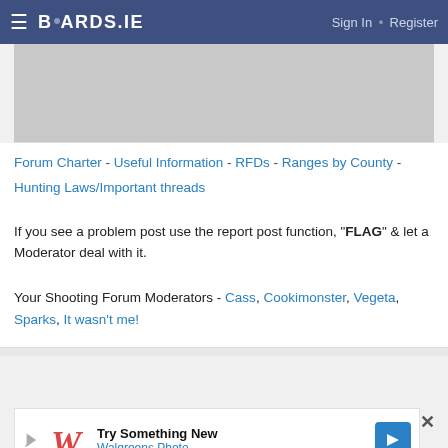BOARDS.IE  Sign In · Register
[Figure (photo): Gray placeholder image area at top of forum post]
Forum Charter - Useful Information - RFDs - Ranges by County - Hunting Laws/Important threads
If you see a problem post use the report post function, "FLAG" & let a Moderator deal with it.
Your Shooting Forum Moderators - Cass, Cookimonster, Vegeta, Sparks, It wasn't me!
[Figure (screenshot): Walgreens Photo advertisement banner: Try Something New - Walgreens Photo]